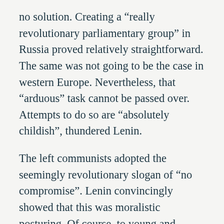no solution. Creating a “really revolutionary parliamentary group” in Russia proved relatively straightforward. The same was not going to be the case in western Europe. Nevertheless, that “arduous” task cannot be passed over. Attempts to do so are “absolutely childish”, thundered Lenin.
The left communists adopted the seemingly revolutionary slogan of “no compromise”. Lenin convincingly showed that this was moralistic posturing. Of course, to young and inexperienced revolutionaries, as well as to petty-bourgeois revolutionaries of even a very respectable age, any compromise seems dangerous, incomprehensible and downright wrong. But surely every militant